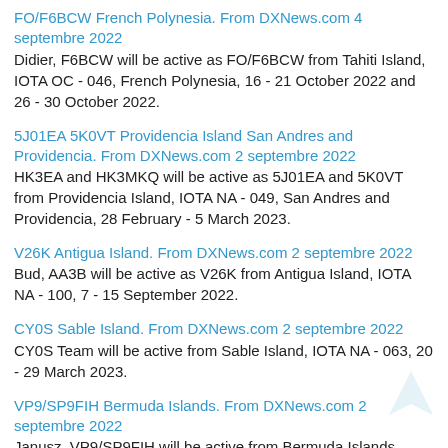FO/F6BCW French Polynesia. From DXNews.com 4 septembre 2022
Didier, F6BCW will be active as FO/F6BCW from Tahiti Island, IOTA OC - 046, French Polynesia, 16 - 21 October 2022 and 26 - 30 October 2022.
5J01EA 5K0VT Providencia Island San Andres and Providencia. From DXNews.com 2 septembre 2022
HK3EA and HK3MKQ will be active as 5J01EA and 5K0VT from Providencia Island, IOTA NA - 049, San Andres and Providencia, 28 February - 5 March 2023.
V26K Antigua Island. From DXNews.com 2 septembre 2022
Bud, AA3B will be active as V26K from Antigua Island, IOTA NA - 100, 7 - 15 September 2022.
CY0S Sable Island. From DXNews.com 2 septembre 2022
CY0S Team will be active from Sable Island, IOTA NA - 063, 20 - 29 March 2023.
VP9/SP9FIH Bermuda Islands. From DXNews.com 2 septembre 2022
Janusz, VP9/SP9FIH will be active from Bermuda Islands, IOTA NA - 005, 23 September - 2 October 2022.